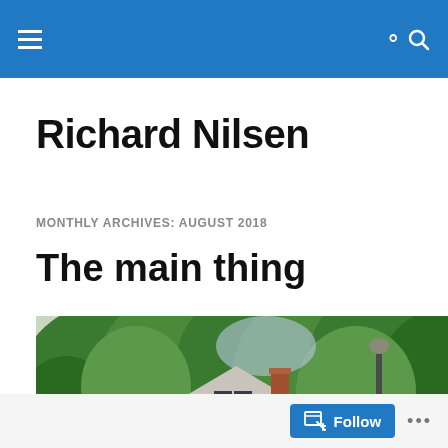Richard Nilsen — navigation bar
Richard Nilsen
MONTHLY ARCHIVES: AUGUST 2018
The main thing
[Figure (photo): A white clapboard house with a steep gabled roof and brick chimney surrounded by green leafy trees in summer]
Follow  ...